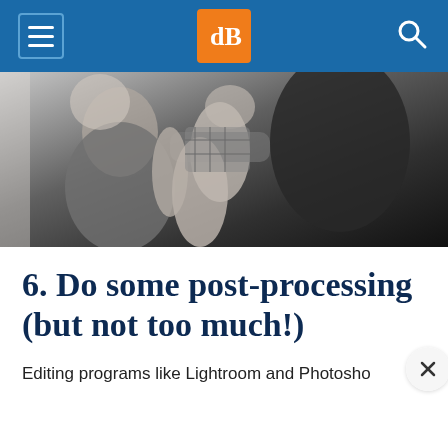[Figure (screenshot): Website navigation bar with blue background, hamburger menu icon on left, dPS logo (orange square with white 'dB' letters) in center, and search icon on right]
[Figure (photo): Black and white photograph of people, appears to show a family group with adults and a child]
6. Do some post-processing (but not too much!)
Editing programs like Lightroom and Photosho